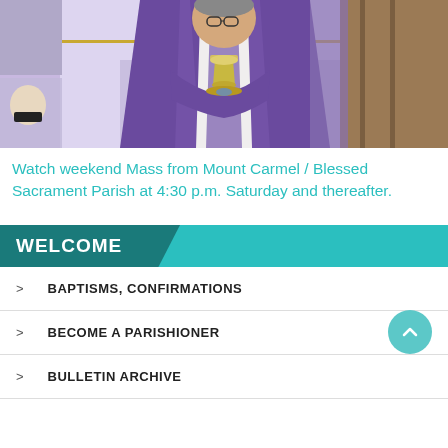[Figure (photo): Priest in purple vestments holding a chalice during Mass at the altar]
Watch weekend Mass from Mount Carmel / Blessed Sacrament Parish at 4:30 p.m. Saturday and thereafter.
WELCOME
BAPTISMS, CONFIRMATIONS
BECOME A PARISHIONER
BULLETIN ARCHIVE